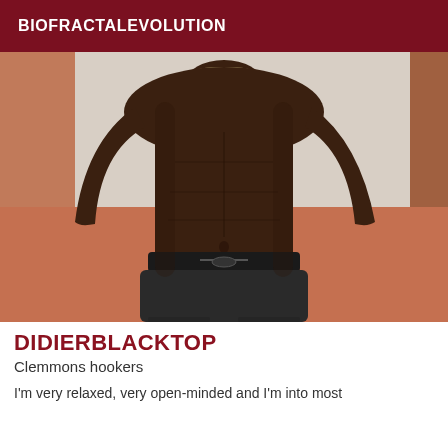BIOFRACTALEVOLUTION
[Figure (photo): Shirtless athletic man in dark sweatpants, torso selfie, taken indoors with orange/red floor and white wall background]
DIDIERBLACKTOP
Clemmons hookers
I'm very relaxed, very open-minded and I'm into most